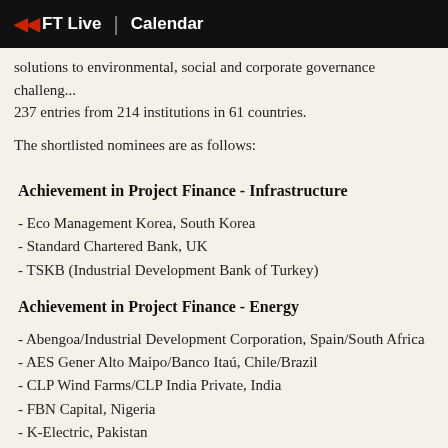FT Live | Calendar
solutions to environmental, social and corporate governance challenges. 237 entries from 214 institutions in 61 countries.
The shortlisted nominees are as follows:
Achievement in Project Finance - Infrastructure
- Eco Management Korea, South Korea
- Standard Chartered Bank, UK
- TSKB (Industrial Development Bank of Turkey)
Achievement in Project Finance - Energy
- Abengoa/Industrial Development Corporation, Spain/South Africa
- AES Gener Alto Maipo/Banco Itaú, Chile/Brazil
- CLP Wind Farms/CLP India Private, India
- FBN Capital, Nigeria
- K-Electric, Pakistan
Achievement in Project Finance - Food & Water